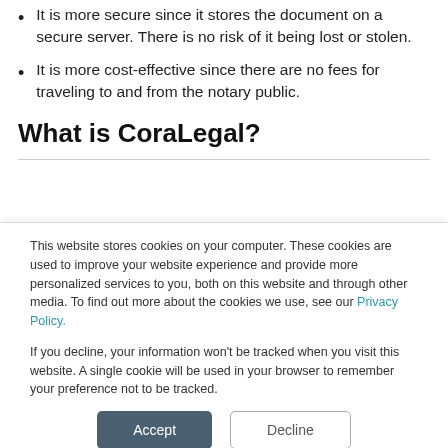It is more secure since it stores the document on a secure server. There is no risk of it being lost or stolen.
It is more cost-effective since there are no fees for traveling to and from the notary public.
What is CoraLegal?
This website stores cookies on your computer. These cookies are used to improve your website experience and provide more personalized services to you, both on this website and through other media. To find out more about the cookies we use, see our Privacy Policy.
If you decline, your information won't be tracked when you visit this website. A single cookie will be used in your browser to remember your preference not to be tracked.